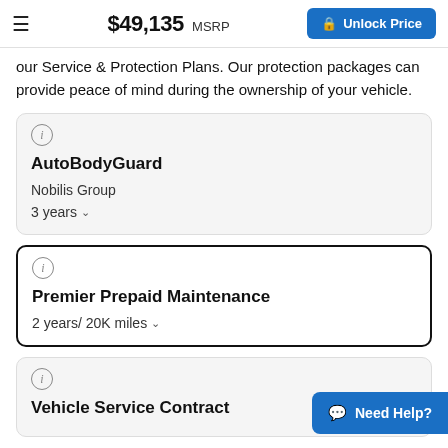$49,135 MSRP | Unlock Price
our Service & Protection Plans. Our protection packages can provide peace of mind during the ownership of your vehicle.
AutoBodyGuard
Nobilis Group
3 years
Premier Prepaid Maintenance
2 years/ 20K miles
Vehicle Service Contract